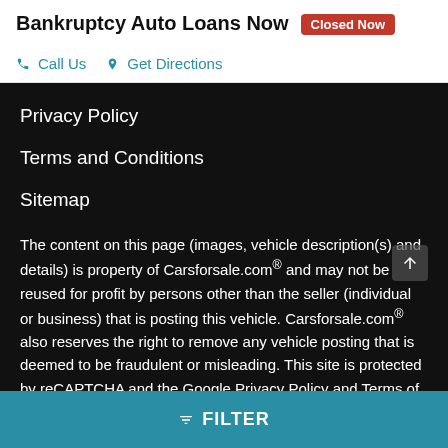Bankruptcy Auto Loans Now
Closed Now
Call Us
Get Directions
Privacy Policy
Terms and Conditions
Sitemap
The content on this page (images, vehicle description(s) and details) is property of Carsforsale.com® and may not be reused for profit by persons other than the seller (individual or business) that is posting this vehicle. Carsforsale.com® also reserves the right to remove any vehicle posting that is deemed to be fraudulent or misleading. This site is protected by reCAPTCHA and the Google Privacy Policy and Terms of Service apply.
FILTER